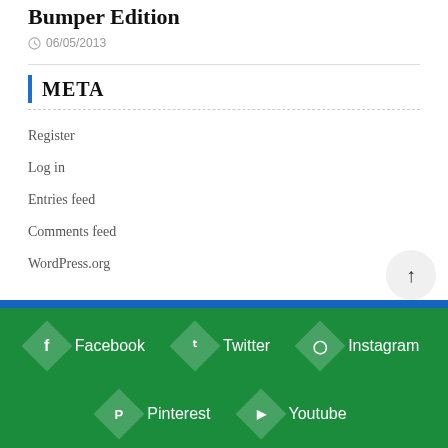Bumper Edition
06/05/2013
META
Register
Log in
Entries feed
Comments feed
WordPress.org
Facebook  Twitter  Instagram  Pinterest  Youtube